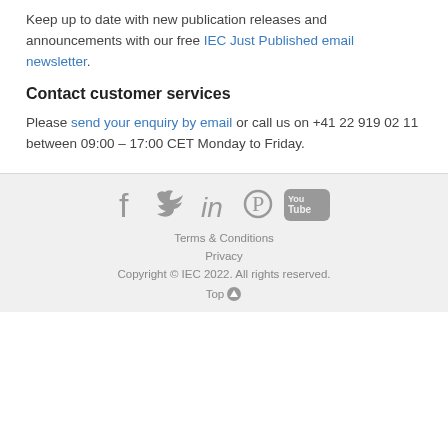Keep up to date with new publication releases and announcements with our free IEC Just Published email newsletter.
Contact customer services
Please send your enquiry by email or call us on +41 22 919 02 11 between 09:00 – 17:00 CET Monday to Friday.
Social icons: Facebook, Twitter, LinkedIn, Pinterest, YouTube | Terms & Conditions | Privacy | Copyright © IEC 2022. All rights reserved. | Top